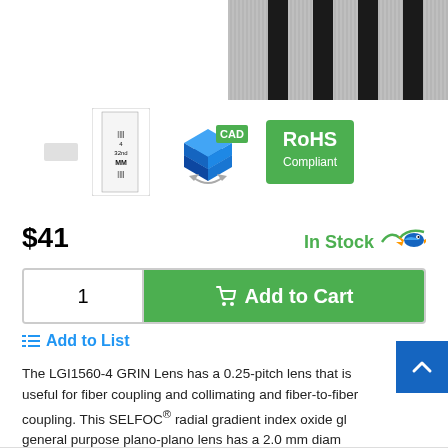[Figure (photo): Product photo showing GRIN lens array with black bars on metallic surface, top-right crop]
[Figure (photo): Thumbnail row: ruler scale image (32nd MM), CAD 3D cube icon, RoHS Compliant green badge]
$41
In Stock
1
Add to Cart
Add to List
The LGI1560-4 GRIN Lens has a 0.25-pitch lens that is useful for fiber coupling and collimating and fiber-to-fiber coupling. This SELFOC® radial gradient index oxide gl general purpose plano-plano lens has a 2.0 mm diam
READ MORE